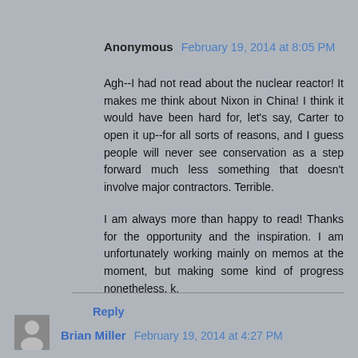Anonymous February 19, 2014 at 8:05 PM
Agh--I had not read about the nuclear reactor! It makes me think about Nixon in China! I think it would have been hard for, let's say, Carter to open it up--for all sorts of reasons, and I guess people will never see conservation as a step forward much less something that doesn't involve major contractors. Terrible.
I am always more than happy to read! Thanks for the opportunity and the inspiration. I am unfortunately working mainly on memos at the moment, but making some kind of progress nonetheless. k.
Reply
Brian Miller February 19, 2014 at 4:27 PM